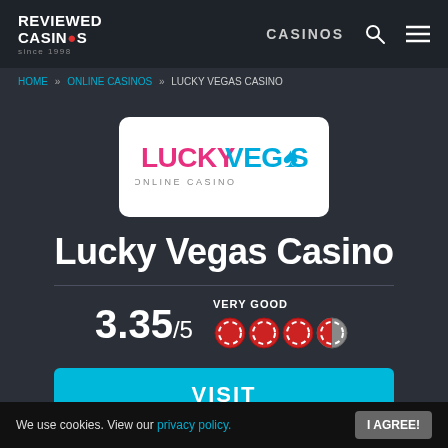REVIEWED CASINOS since 1998 | CASINOS
HOME » ONLINE CASINOS » LUCKY VEGAS CASINO
[Figure (logo): Lucky Vegas Online Casino logo — pink and blue text on white rounded rectangle background]
Lucky Vegas Casino
3.35/5  VERY GOOD
VISIT
LUCKY VEGAS CASINO
We use cookies. View our privacy policy.  I AGREE!